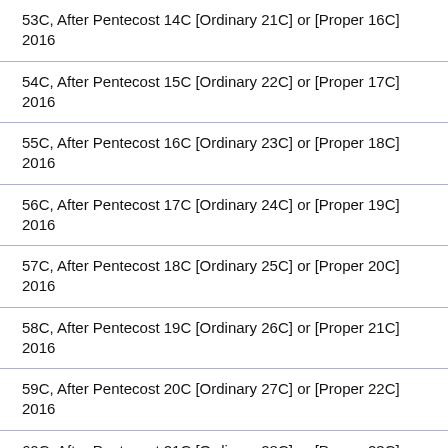| 53C, After Pentecost 14C [Ordinary 21C] or [Proper 16C] 2016 |
| 54C, After Pentecost 15C [Ordinary 22C] or [Proper 17C] 2016 |
| 55C, After Pentecost 16C [Ordinary 23C] or [Proper 18C] 2016 |
| 56C, After Pentecost 17C [Ordinary 24C] or [Proper 19C] 2016 |
| 57C, After Pentecost 18C [Ordinary 25C] or [Proper 20C] 2016 |
| 58C, After Pentecost 19C [Ordinary 26C] or [Proper 21C] 2016 |
| 59C, After Pentecost 20C [Ordinary 27C] or [Proper 22C] 2016 |
| 60C, After Pentecost 21C [Ordinary 28C] or [Proper 23C] 2016 |